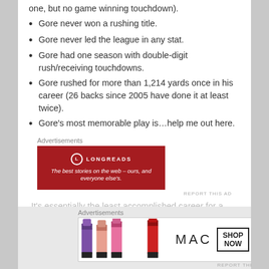one, but no game winning touchdown).
Gore never won a rushing title.
Gore never led the league in any stat.
Gore had one season with double-digit rush/receiving touchdowns.
Gore rushed for more than 1,214 yards once in his career (26 backs since 2005 have done it at least twice).
Gore's most memorable play is…help me out here.
[Figure (other): Longreads advertisement banner: red background with Longreads logo and tagline 'The best stories on the web – ours, and everyone else's.']
It's essentially the least accomplished career for a
[Figure (other): MAC cosmetics advertisement showing lipsticks in purple, peach, pink, and red colors with MAC brand name and SHOP NOW button]